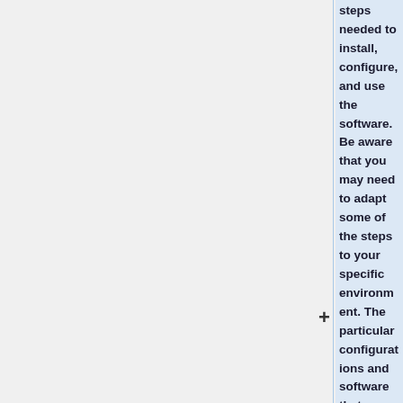steps needed to install, configure, and use the software. Be aware that you may need to adapt some of the steps to your specific environment. The particular configurations and software that we explain are the ones we have tested but, probably, you can make changes to adapt them to your preferences